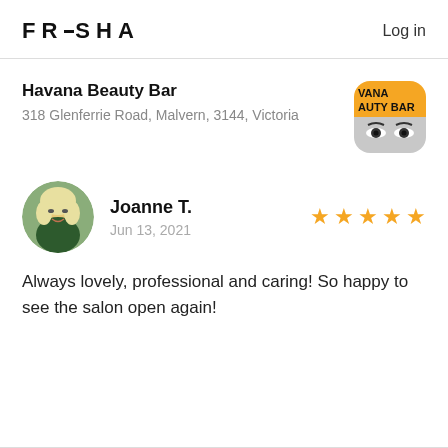FRESHA   Log in
Havana Beauty Bar
318 Glenferrie Road, Malvern, 3144, Victoria
[Figure (logo): Havana Beauty Bar logo — orange background with text VANA AUTY BAR and a black-and-white close-up photo of eyes below]
[Figure (photo): Circular avatar photo of Joanne T., a blonde woman outdoors]
Joanne T.
Jun 13, 2021
★★★★★
Always lovely, professional and caring! So happy to see the salon open again!